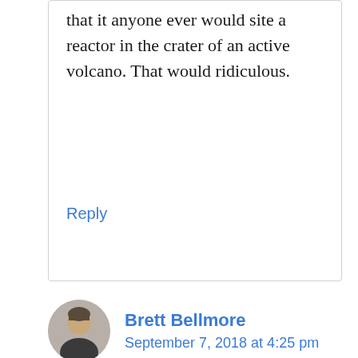that it anyone ever would site a reactor in the crater of an active volcano. That would ridiculous.
Reply
Brett Bellmore
September 7, 2018 at 4:25 pm
Um, doesn’t the volcanic eruption supply all the “savage, explosive reaction” you might need? Adding a bit of chemical reactions on top of it would be redundant.